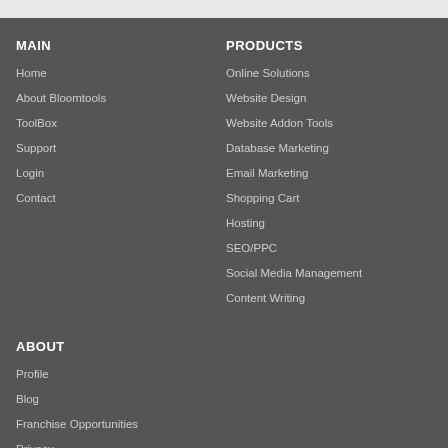MAIN
Home
About Bloomtools
ToolBox
Support
Login
Contact
PRODUCTS
Online Solutions
Website Design
Website Addon Tools
Database Marketing
Email Marketing
Shopping Cart
Hosting
SEO/PPC
Social Media Management
Content Writing
ABOUT
Profile
Blog
Franchise Opportunities
Privacy